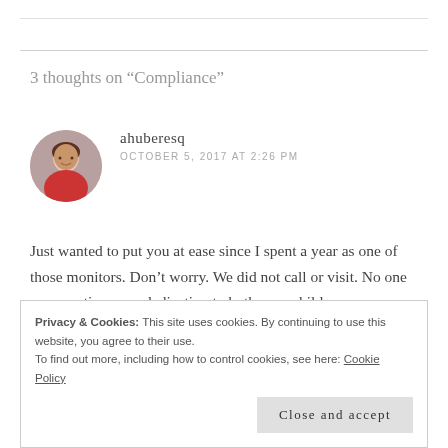3 thoughts on “Compliance”
ahuberesq
OCTOBER 5, 2017 AT 2:26 PM
Just wanted to put you at ease since I spent a year as one of those monitors. Don’t worry. We did not call or visit. No one can question your dedication to both your children.
Privacy & Cookies: This site uses cookies. By continuing to use this website, you agree to their use.
To find out more, including how to control cookies, see here: Cookie Policy
Close and accept